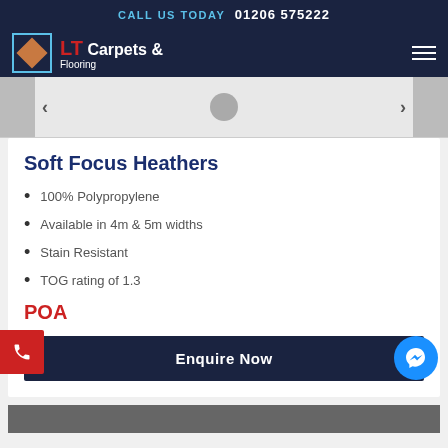CALL US TODAY 01206 575222
[Figure (logo): LT Carpets & Flooring logo with diamond wood pattern icon, white and red text on dark navy background]
[Figure (screenshot): Product image slider with left and right arrows and a grey dot indicator in the center]
Soft Focus Heathers
100% Polypropylene
Available in 4m & 5m widths
Stain Resistant
TOG rating of 1.3
POA
Enquire Now